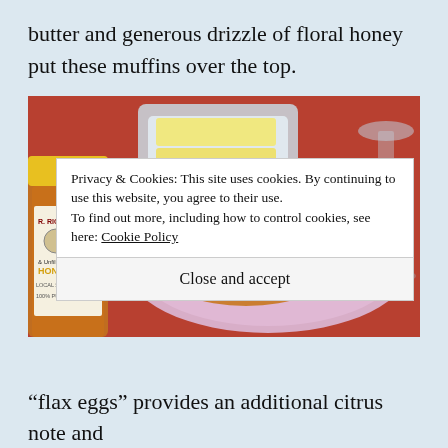butter and generous drizzle of floral honey put these muffins over the top.
[Figure (photo): A pink plate with broken muffin pieces and a butter knife with butter, beside a jar of R. Rice local honey and butter on a dish, on a red tablecloth, with a wine glass in background.]
Privacy & Cookies: This site uses cookies. By continuing to use this website, you agree to their use.
To find out more, including how to control cookies, see here: Cookie Policy
Close and accept
“flax eggs” provides an additional citrus note and